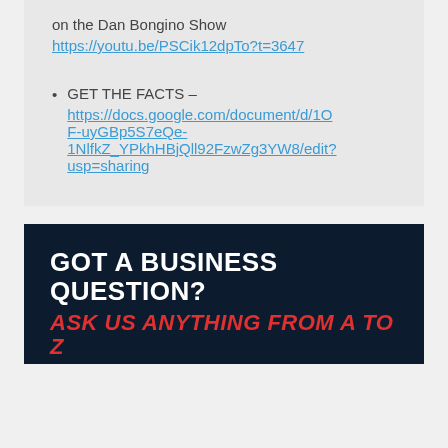on the Dan Bongino Show
https://youtu.be/PSCik12dpTo?t=3647
GET THE FACTS – https://docs.google.com/document/d/1OF-uyGBp5S7eQe-1NlfkZ_YPkhHBjQll92FzwZg3YW8/edit?usp=sharing
[Figure (infographic): Dark navy background banner with white bold text 'GOT A BUSINESS QUESTION?' and red italic text 'ASK US ANYTHING FROM A TO Z' with a red arrow graphic below]